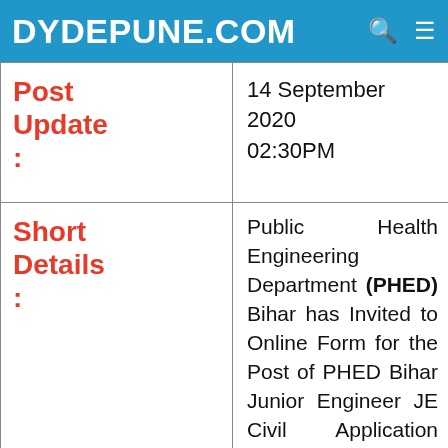DYDEPUNE.COM
| Post Update : |  |
| --- | --- |
| Post Update : | 14 September 2020 02:30PM |
| Short Details : | Public Health Engineering Department (PHED) Bihar has Invited to Online Form for the Post of PHED Bihar Junior Engineer JE Civil Application Form 2020 PHED Bihar Junior Engineer JE Civil Vacancy Job 2020 Those |